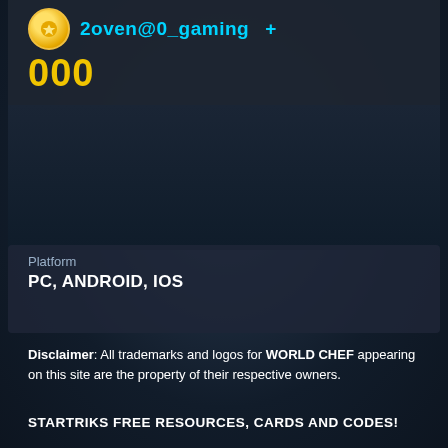2oven@0_gaming + 000
Platform
PC, ANDROID, IOS
Disclaimer: All trademarks and logos for WORLD CHEF appearing on this site are the property of their respective owners.
STARTRIKS FREE RESOURCES, CARDS AND CODES!